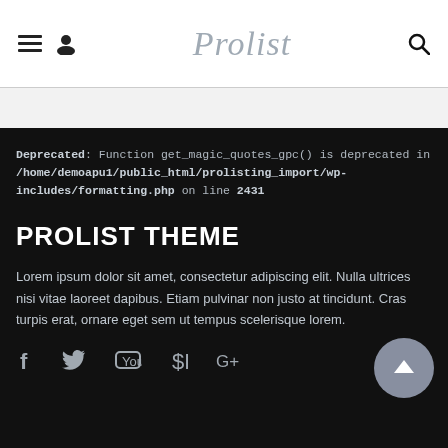Prolist
Deprecated: Function get_magic_quotes_gpc() is deprecated in /home/demoapu1/public_html/prolisting_import/wp-includes/formatting.php on line 2431
PROLIST THEME
Lorem ipsum dolor sit amet, consectetur adipiscing elit. Nulla ultrices nisi vitae laoreet dapibus. Etiam pulvinar non justo at tincidunt. Cras turpis erat, ornare eget sem ut tempus scelerisque lorem.
[Figure (other): Social media icons: Facebook, Twitter, YouTube, Pinterest, Google+]